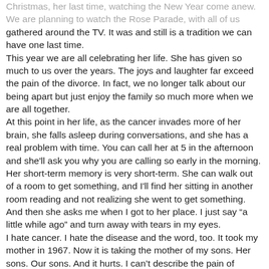Christmas, her last time, watching the New Year come anew. We are planning to watch the Rose Parade, with all of us gathered around the TV. It was and still is a tradition we can have one last time. This year we are all celebrating her life. She has given so much to us over the years. The joys and laughter far exceed the pain of the divorce. In fact, we no longer talk about our being apart but just enjoy the family so much more when we are all together. At this point in her life, as the cancer invades more of her brain, she falls asleep during conversations, and she has a real problem with time. You can call her at 5 in the afternoon and she'll ask you why you are calling so early in the morning. Her short-term memory is very short-term. She can walk out of a room to get something, and I'll find her sitting in another room reading and not realizing she went to get something. And then she asks me when I got to her place. I just say "a little while ago" and turn away with tears in my eyes. I hate cancer. I hate the disease and the word, too. It took my mother in 1967. Now it is taking the mother of my sons. Her sons. Our sons. And it hurts. I can't describe the pain of watching her slowly fade. The doctors say there won't be much pain, but she will just sleep more and more until she is in eternal sleep. That thought is so painful.